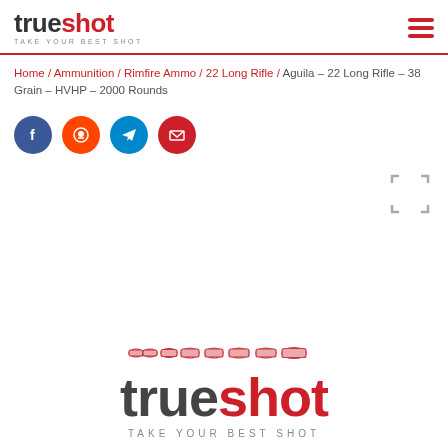[Figure (logo): Trueshot logo with tagline TAKE YOUR BEST SHOT and hamburger menu icon]
Home / Ammunition / Rimfire Ammo / 22 Long Rifle / Aguila – 22 Long Rifle – 38 Grain – HVHP – 2000 Rounds
[Figure (other): Social sharing buttons: Facebook (dark blue), Reddit (orange-red), Telegram (blue), Email (red)]
[Figure (other): Product image area with expand icon, showing Trueshot placeholder logo with bullet graphics]
[Figure (logo): Large Trueshot logo with bullet row graphic and TAKE YOUR BEST SHOT tagline]